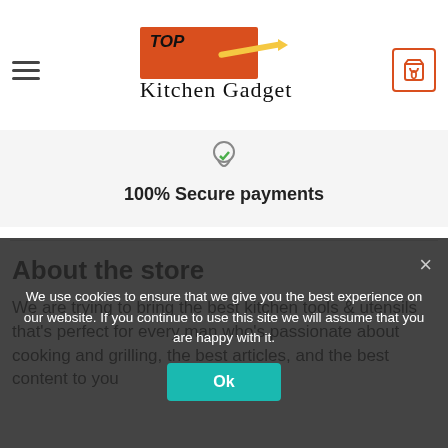[Figure (logo): Top Kitchen Gadget logo with orange/red background box, swoosh graphic, and script font text]
100% Secure payments
About the store
We are trying to bring the best kitchen tools & utensils that's perfect for every man who's passionate about cooking and grilling, the best articles, and the best content to you
We use cookies to ensure that we give you the best experience on our website. If you continue to use this site we will assume that you are happy with it.